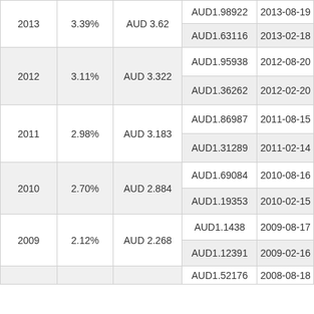| Year | Rate | Total AUD | Payment AUD | Date |
| --- | --- | --- | --- | --- |
| 2013 | 3.39% | AUD 3.62 | AUD1.98922 | 2013-08-19 |
| 2013 | 3.39% | AUD 3.62 | AUD1.63116 | 2013-02-18 |
| 2012 | 3.11% | AUD 3.322 | AUD1.95938 | 2012-08-20 |
| 2012 | 3.11% | AUD 3.322 | AUD1.36262 | 2012-02-20 |
| 2011 | 2.98% | AUD 3.183 | AUD1.86987 | 2011-08-15 |
| 2011 | 2.98% | AUD 3.183 | AUD1.31289 | 2011-02-14 |
| 2010 | 2.70% | AUD 2.884 | AUD1.69084 | 2010-08-16 |
| 2010 | 2.70% | AUD 2.884 | AUD1.19353 | 2010-02-15 |
| 2009 | 2.12% | AUD 2.268 | AUD1.1438 | 2009-08-17 |
| 2009 | 2.12% | AUD 2.268 | AUD1.12391 | 2009-02-16 |
| 2008 |  |  | AUD1.52176 | 2008-08-18 |